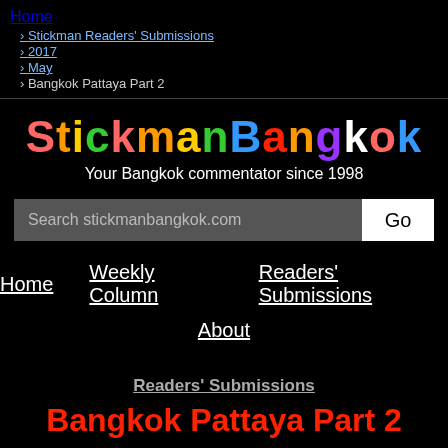Home
› Stickman Readers' Submissions
› 2017
› May
› Bangkok Pattaya Part 2
StickmanBangkok
Your Bangkok commentator since 1998
Search stickmanbangkok.com Go
Home   Weekly Column   Readers' Submissions
About
Readers' Submissions
Bangkok Pattaya Part 2